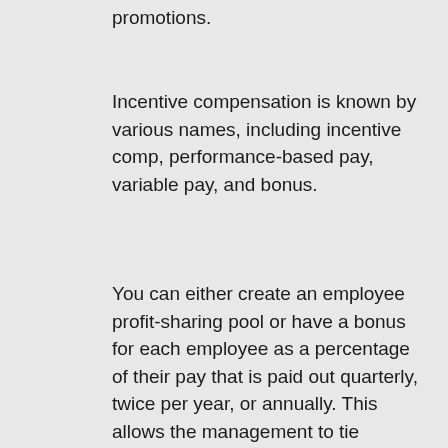promotions.
Incentive compensation is known by various names, including incentive comp, performance-based pay, variable pay, and bonus.
You can either create an employee profit-sharing pool or have a bonus for each employee as a percentage of their pay that is paid out quarterly, twice per year, or annually. This allows the management to tie compensation directly to quantitative company, team, and individual